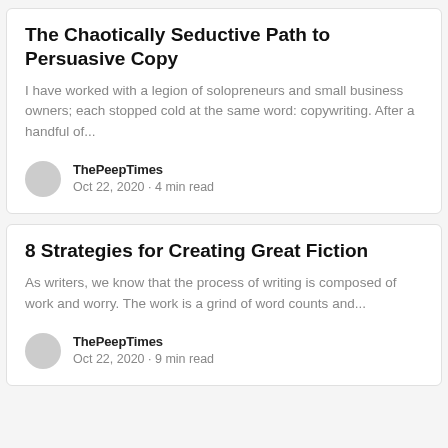The Chaotically Seductive Path to Persuasive Copy
I have worked with a legion of solopreneurs and small business owners; each stopped cold at the same word: copywriting. After a handful of...
ThePeepTimes
Oct 22, 2020 · 4 min read
8 Strategies for Creating Great Fiction
As writers, we know that the process of writing is composed of work and worry. The work is a grind of word counts and...
ThePeepTimes
Oct 22, 2020 · 9 min read